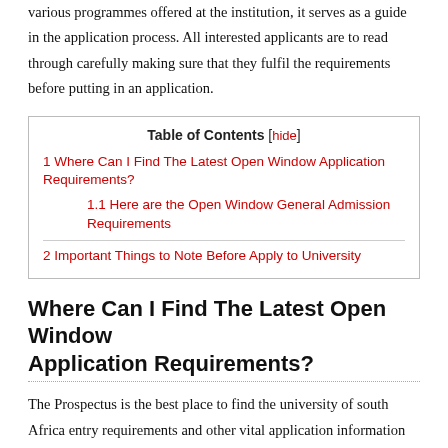various programmes offered at the institution, it serves as a guide in the application process. All interested applicants are to read through carefully making sure that they fulfil the requirements before putting in an application.
| Table of Contents |
| --- |
| 1 Where Can I Find The Latest Open Window Application Requirements? |
| 1.1 Here are the Open Window General Admission Requirements |
| 2 Important Things to Note Before Apply to University |
Where Can I Find The Latest Open Window Application Requirements?
The Prospectus is the best place to find the university of south Africa entry requirements and other vital application information such as